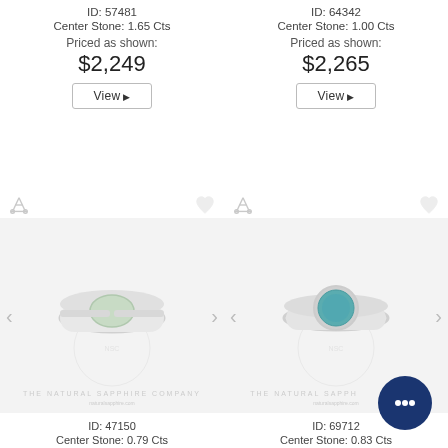ID: 57481
Center Stone: 1.65 Cts
Priced as shown:
$2,249
View
ID: 64342
Center Stone: 1.00 Cts
Priced as shown:
$2,265
View
[Figure (photo): Silver engagement ring with oval green/mint sapphire center stone and diamond-paved band]
ID: 47150
Center Stone: 0.79 Cts
[Figure (photo): Silver ring with round blue-teal sapphire bezel-set center stone and plain band]
ID: 69712
Center Stone: 0.83 Cts